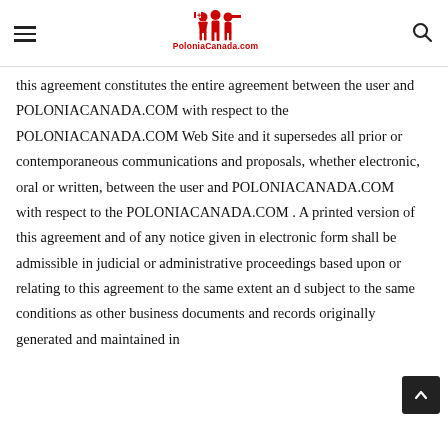PoloniaCanada.com
this agreement constitutes the entire agreement between the user and POLONIACANADA.COM with respect to the POLONIACANADA.COM Web Site and it supersedes all prior or contemporaneous communications and proposals, whether electronic, oral or written, between the user and POLONIACANADA.COM with respect to the POLONIACANADA.COM . A printed version of this agreement and of any notice given in electronic form shall be admissible in judicial or administrative proceedings based upon or relating to this agreement to the same extent an d subject to the same conditions as other business documents and records originally generated and maintained in